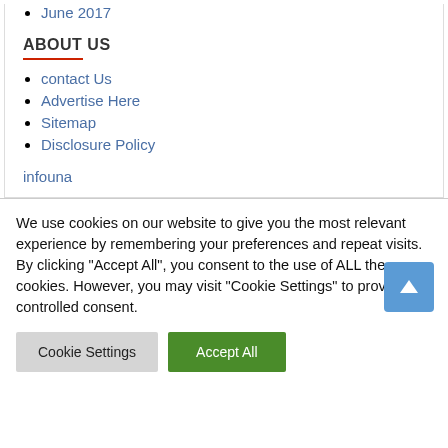June 2017
ABOUT US
contact Us
Advertise Here
Sitemap
Disclosure Policy
infouna
We use cookies on our website to give you the most relevant experience by remembering your preferences and repeat visits. By clicking "Accept All", you consent to the use of ALL the cookies. However, you may visit "Cookie Settings" to provide a controlled consent.